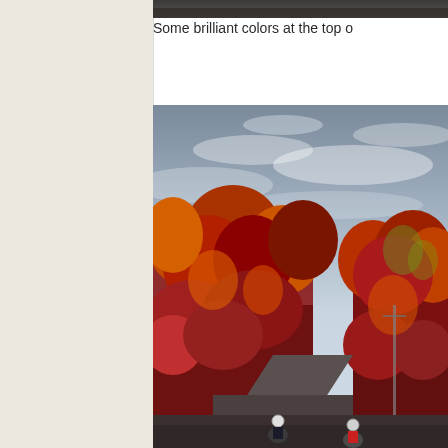[Figure (photo): Narrow strip of a photo visible at top of page — dark treeline or sky edge]
Some brilliant colors at the top o
[Figure (photo): Autumn forest scene with vibrant red, orange, and yellow foliage lining a road under a partly cloudy sky. Several motorcyclists are visible at the bottom of the road.]